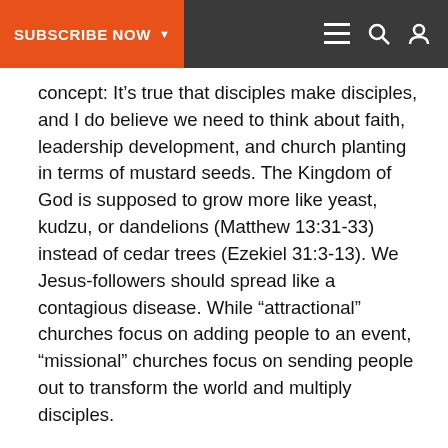SUBSCRIBE NOW
concept: It’s true that disciples make disciples, and I do believe we need to think about faith, leadership development, and church planting in terms of mustard seeds. The Kingdom of God is supposed to grow more like yeast, kudzu, or dandelions (Matthew 13:31-33) instead of cedar trees (Ezekiel 31:3-13). We Jesus-followers should spread like a contagious disease. While “attractional” churches focus on adding people to an event, “missional” churches focus on sending people out to transform the world and multiply disciples.
But second, we need to disentangle our cultural trends and fascinations from our theological principles. In our current social moment, “going